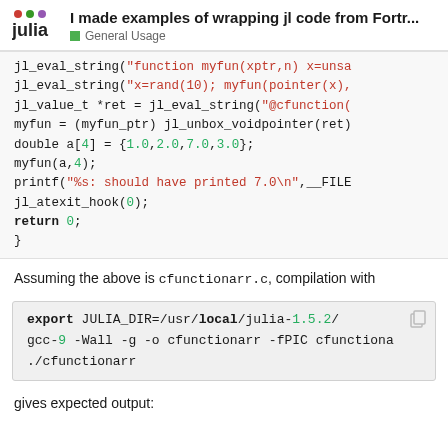I made examples of wrapping jl code from Fortr... — General Usage
[Figure (screenshot): Julia forum page header with Julia logo, bold title 'I made examples of wrapping jl code from Fortr...' and category 'General Usage']
jl_eval_string("function myfun(xptr,n) x=unsa
jl_eval_string("x=rand(10); myfun(pointer(x),
jl_value_t *ret = jl_eval_string("@cfunction(
myfun = (myfun_ptr) jl_unbox_voidpointer(ret);
double a[4] = {1.0,2.0,7.0,3.0};
myfun(a,4);
printf("%s: should have printed 7.0\n",__FILE
jl_atexit_hook(0);
return 0;
}
Assuming the above is cfunctionarr.c, compilation with
export JULIA_DIR=/usr/local/julia-1.5.2/
gcc-9 -Wall -g -o cfunctionarr -fPIC cfunctiona
./cfunctionarr
gives expected output: